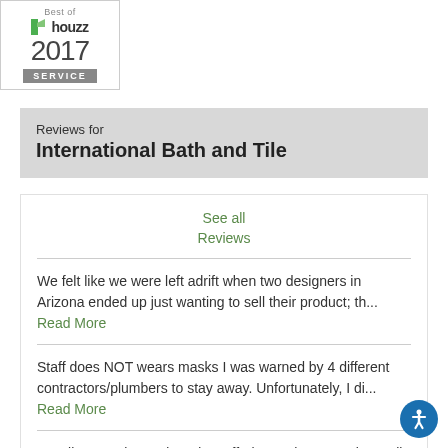[Figure (logo): Best of Houzz 2017 Service badge — white rectangle with grey border, Houzz logo with green icon, large '2017' text, grey 'SERVICE' banner]
Reviews for
International Bath and Tile
See all Reviews
We felt like we were left adrift when two designers in Arizona ended up just wanting to sell their product; th... Read More
Staff does NOT wears masks I was warned by 4 different contractors/plumbers to stay away. Unfortunately, I di... Read More
Excellent service and product offerings. Showroom is small but well organized and provides variety that is not... Read More